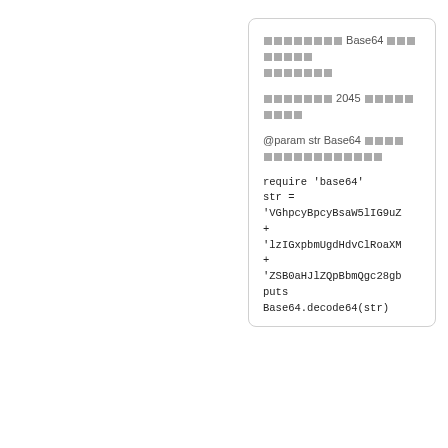░░░░░░░░ Base64 ░░░░░░░░ ░░░░░░░
░░░░░░░ 2045 ░░░░░░░░░
@param str Base64 ░░░░ ░░░░░░░░░░░░
require 'base64'
str =
'VGhpcyBpcyBsaW5lIG9uZ
+
'lzIGxpbmUgdHdvClRoaXM
+
'ZSB0aHJlZQpBbmQgc28gb
puts
Base64.decode64(str)